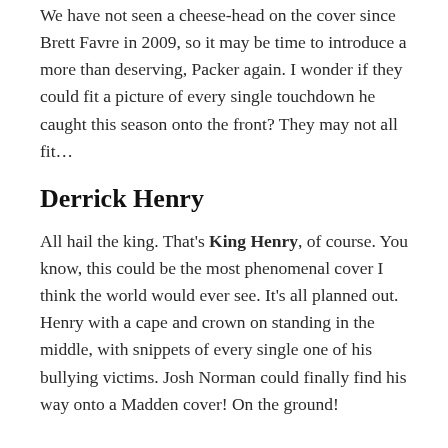We have not seen a cheese-head on the cover since Brett Favre in 2009, so it may be time to introduce a more than deserving, Packer again. I wonder if they could fit a picture of every single touchdown he caught this season onto the front? They may not all fit...
Derrick Henry
All hail the king. That's King Henry, of course. You know, this could be the most phenomenal cover I think the world would ever see. It's all planned out. Henry with a cape and crown on standing in the middle, with snippets of every single one of his bullying victims. Josh Norman could finally find his way onto a Madden cover! On the ground!